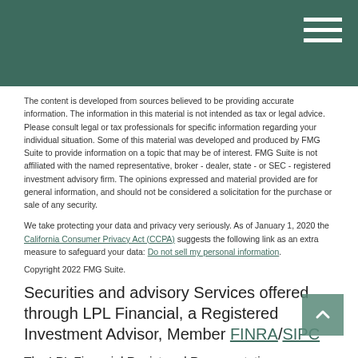The content is developed from sources believed to be providing accurate information. The information in this material is not intended as tax or legal advice. Please consult legal or tax professionals for specific information regarding your individual situation. Some of this material was developed and produced by FMG Suite to provide information on a topic that may be of interest. FMG Suite is not affiliated with the named representative, broker - dealer, state - or SEC - registered investment advisory firm. The opinions expressed and material provided are for general information, and should not be considered a solicitation for the purchase or sale of any security.
We take protecting your data and privacy very seriously. As of January 1, 2020 the California Consumer Privacy Act (CCPA) suggests the following link as an extra measure to safeguard your data: Do not sell my personal information.
Copyright 2022 FMG Suite.
Securities and advisory Services offered through LPL Financial, a Registered Investment Advisor, Member FINRA/SIPC
The LPL Financial Registered Representatives associated with this site may only discuss and/or transact securities business with residents of the following states: AK, AL, AZ